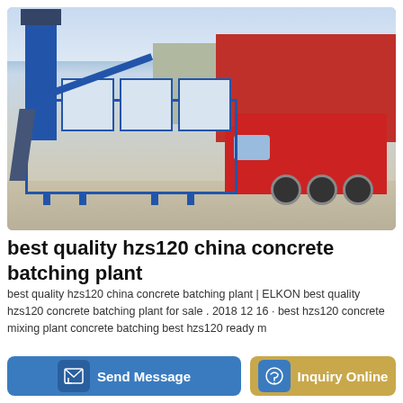[Figure (photo): A blue-framed mobile concrete batching plant mounted on a flatbed trailer, being pulled by a red FAW truck. The plant features hopper bins, a conveyor belt, and a tower structure. Background shows a commercial building and open yard.]
best quality hzs120 china concrete batching plant
best quality hzs120 china concrete batching plant | ELKON best quality hzs120 concrete batching plant for sale . 2018 12 16 · best hzs120 concrete mixing plant concrete batching best hzs120 ready m